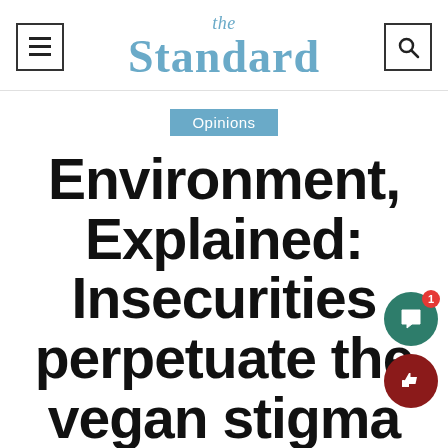the Standard
Opinions
Environment, Explained: Insecurities perpetuate the vegan stigma